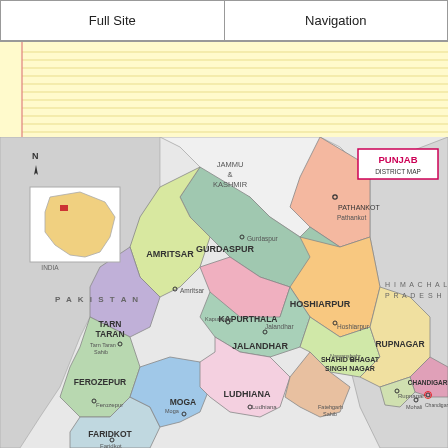Full Site | Navigation
[Figure (map): Punjab District Map of India showing districts including Pathankot, Gurdaspur, Amritsar, Tarn Taran, Hoshiarpur, Kapurthala, Jalandhar, Ferozepur, Faridkot, Moga, Ludhiana, Shahid Bhagat Singh Nagar, Rupnagar, Chandigarh. Neighboring regions: Pakistan (west), Jammu & Kashmir (north), Himachal Pradesh (east). Inset map of India with Punjab highlighted.]